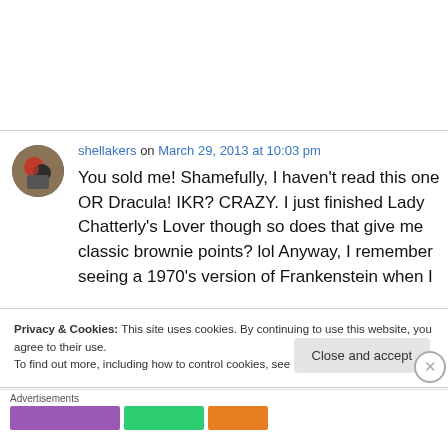shellakers on March 29, 2013 at 10:03 pm
You sold me! Shamefully, I haven't read this one OR Dracula! IKR? CRAZY. I just finished Lady Chatterly's Lover though so does that give me classic brownie points? lol Anyway, I remember seeing a 1970's version of Frankenstein when I
Privacy & Cookies: This site uses cookies. By continuing to use this website, you agree to their use.
To find out more, including how to control cookies, see here: Cookie Policy
Close and accept
Advertisements